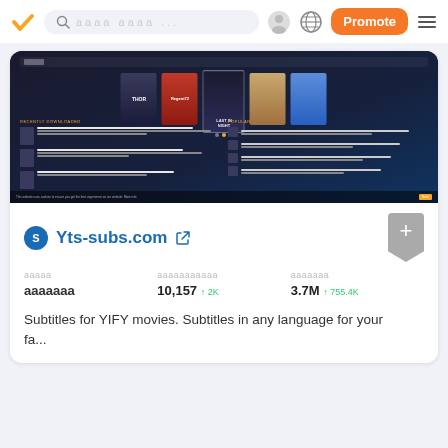Navigation bar with logo, search, profile, globe, Promote button, and menu
[Figure (screenshot): Screenshot of Yts-subs.com website showing movie posters (Thor, Regiment72, Last in Night, Girl in the Picture, couple movie) and recently downloaded/popular sections with dark theme]
Yts-subs.com
| ааааа | ааааааааааа | ааааааа |
| --- | --- | --- |
| ааааааа | 10,157 ↑ 2K | 3.7M ↑ 755.4K |
Subtitles for YIFY movies. Subtitles in any language for your favourite YIFY films.